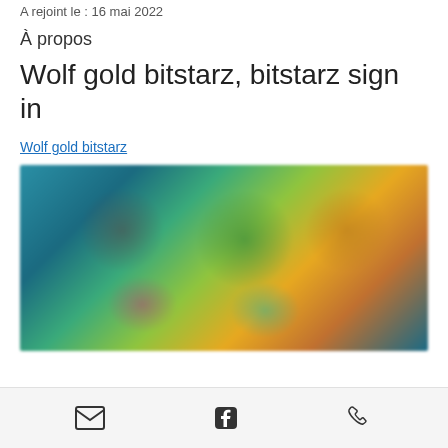A rejoint le : 16 mai 2022
À propos
Wolf gold bitstarz, bitstarz sign in
Wolf gold bitstarz
[Figure (screenshot): Blurred screenshot of an online casino game lobby showing multiple game thumbnails with colorful graphics]
Email | Facebook | Phone icons